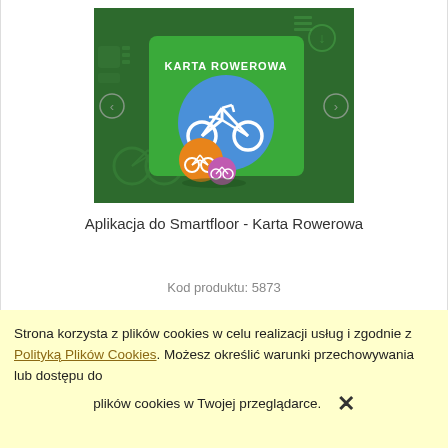[Figure (illustration): Karta Rowerowa app screenshot showing a green card with bicycle icons on a dark green background]
Aplikacja do Smartfloor - Karta Rowerowa
Kod produktu: 5873
Strona korzysta z plików cookies w celu realizacji usług i zgodnie z Polityką Plików Cookies. Możesz określić warunki przechowywania lub dostępu do plików cookies w Twojej przeglądarce.